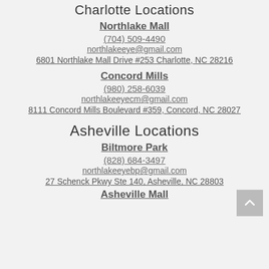Charlotte Locations
Northlake Mall
(704) 509-4490
northlakeeye@gmail.com
6801 Northlake Mall Drive #253 Charlotte, NC 28216
Concord Mills
(980) 258-6039
northlakeeyecm@gmail.com
8111 Concord Mills Boulevard #359, Concord, NC 28027
Asheville Locations
Biltmore Park
(828) 684-3497
northlakeeyebp@gmail.com
27 Schenck Pkwy Ste 140, Asheville, NC 28803
Asheville Mall